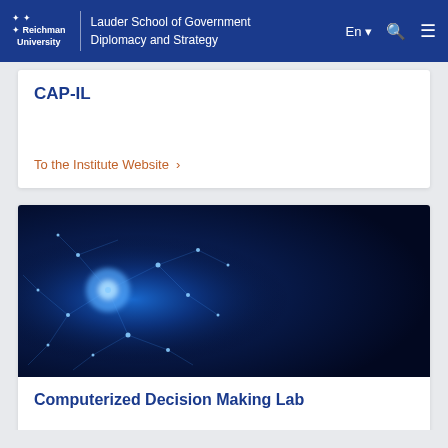Reichman University | Lauder School of Government Diplomacy and Strategy
CAP-IL
To the Institute Website ›
[Figure (photo): Blue network/neural connections glowing on dark background, representing technology and AI]
Computerized Decision Making Lab
Learn more ›